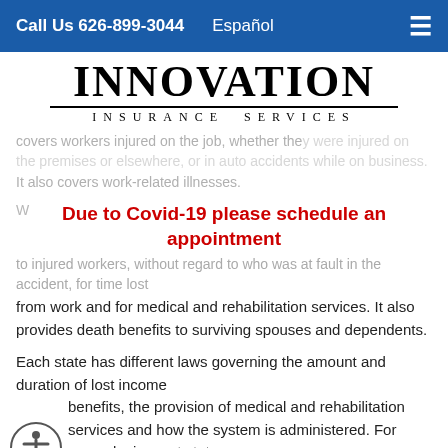Call Us 626-899-3044   Español
[Figure (logo): Innovation Insurance Services logo with large serif text INNOVATION above a horizontal line and INSURANCE SERVICES below in spaced capitals]
covers workers injured on the job, whether they were injured on the premises or elsewhere, or in auto accidents while on business. It also covers work-related illnesses.
Due to Covid-19 please schedule an appointment
to injured workers, without regard to who was at fault in the accident, for time lost from work and for medical and rehabilitation services. It also provides death benefits to surviving spouses and dependents.
Each state has different laws governing the amount and duration of lost income benefits, the provision of medical and rehabilitation services and how the system is administered. For example, in most states